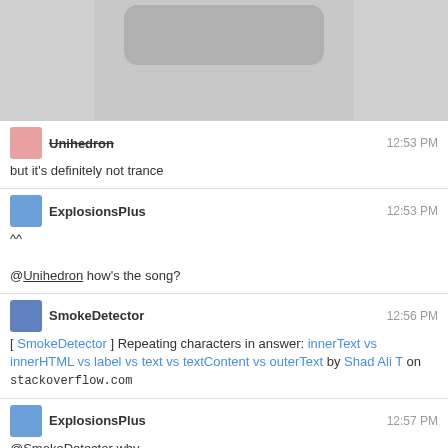[Figure (screenshot): Partial screenshot showing a rounded rectangle UI element on gray background]
Unihedron  12:53 PM
but it's definitely not trance
ExplosionsPlus  12:53 PM
^^
@Unihedron how's the song?
SmokeDetector  12:56 PM
[ SmokeDetector ] Repeating characters in answer: innerText vs innerHTML vs label vs text vs textContent vs outerText by Shad Ali T on stackoverflow.com
ExplosionsPlus  12:57 PM
@SmokeDetector why
SmokeDetector  12:57 PM
@ExplosionsPlus There is no why data for that post (anymore).
ProgramFOX  1:00 PM
Well, repeating characters doesn't use a regex, so no why data.
berserk  1:06 PM
Agree with @Pro, even tho I don't do regex.